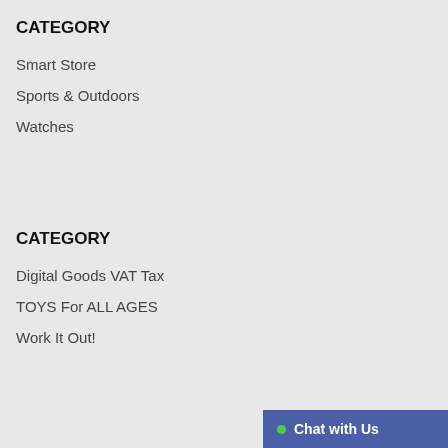CATEGORY
Smart Store
Sports & Outdoors
Watches
CATEGORY
Digital Goods VAT Tax
TOYS For ALL AGES
Work It Out!
Chat with Us